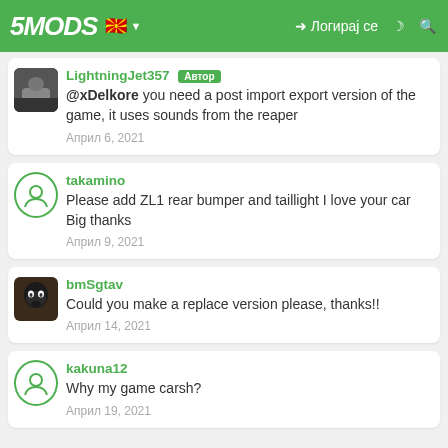5MODS navigation bar with flag and login
LightningJet357 [Автор]: @xDelkore you need a post import export version of the game, it uses sounds from the reaper — Април 6, 2021
takamino: Please add ZL1 rear bumper and taillight I love your car Big thanks — Април 9, 2021
bmSgtav: Could you make a replace version please, thanks!! — Април 14, 2021
kakuna12: Why my game carsh? — Април 19, 2021